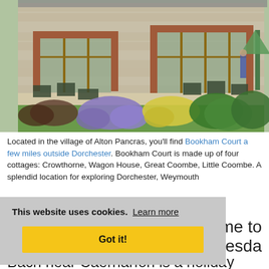[Figure (photo): Exterior photo of Bookham Court, a stone cottage building with brick window surrounds and wooden-framed glass doors, with a patio area with garden chairs and tables, and a garden with purple and yellow flowering shrubs on a lawn.]
Located in the village of Alton Pancras, you'll find Bookham Court a few miles outside Dorchester. Bookham Court is made up of four cottages: Crowthorne, Wagon House, Great Coombe, Little Coombe. A splendid location for exploring Dorchester, Weymouth
This website uses cookies. Learn more
Got it!
me to thesda
Bach near Caernarfon is a holiday